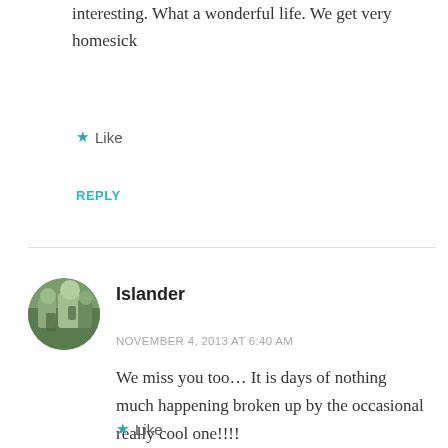interesting. What a wonderful life. We get very homesick
★ Like
REPLY
Islander
NOVEMBER 4, 2013 AT 6:40 AM
We miss you too… It is days of nothing much happening broken up by the occasional really cool one!!!!
★ Like